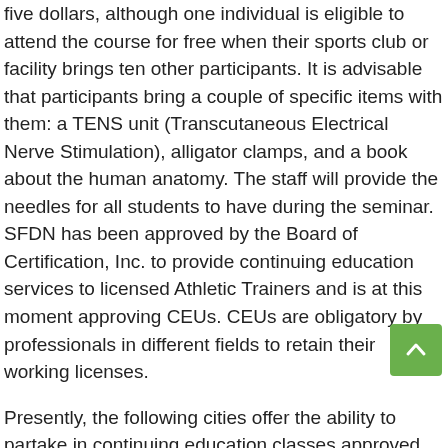five dollars, although one individual is eligible to attend the course for free when their sports club or facility brings ten other participants. It is advisable that participants bring a couple of specific items with them: a TENS unit (Transcutaneous Electrical Nerve Stimulation), alligator clamps, and a book about the human anatomy. The staff will provide the needles for all students to have during the seminar. SFDN has been approved by the Board of Certification, Inc. to provide continuing education services to licensed Athletic Trainers and is at this moment approving CEUs. CEUs are obligatory by professionals in different fields to retain their working licenses.
Presently, the following cities offer the ability to partake in continuing education classes approved by ProCert for Physiotherapists to get 26 CEUs: Birmingham. Further, NATA
[Figure (other): Green scroll-to-top button with upward arrow chevron, positioned in lower right area of the page]